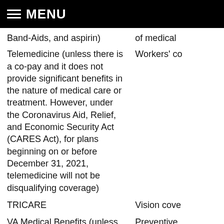MENU
Band-Aids, and aspirin)
of medical
Telemedicine (unless there is a co-pay and it does not provide significant benefits in the nature of medical care or treatment. However, under the Coronavirus Aid, Relief, and Economic Security Act (CARES Act), for plans beginning on or before December 31, 2021, telemedicine will not be disqualifying coverage)
Workers' co
TRICARE
Vision cove
VA Medical Benefits (unless it is hospital care or services for a service-connected disability)
Preventive
Disqualifying coverage problems can be difficult employees to understand, and care should be to educate them on what disqualifying coverage is.